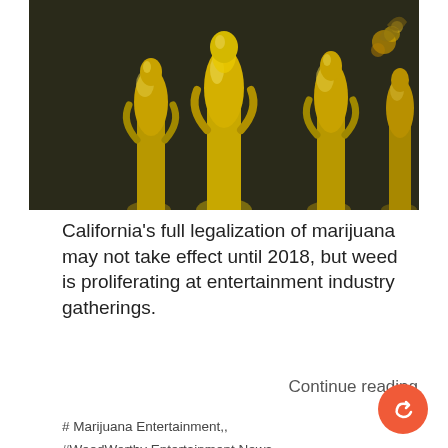[Figure (photo): Close-up photo of golden Oscar-style award statuettes with shiny metallic surface against dark background.]
California's full legalization of marijuana may not take effect until 2018, but weed is proliferating at entertainment industry gatherings.
Continue reading
# Marijuana Entertainment,,
#WeedWorthy Entertainment News,,
#Weed Worthy Law & Crime News,,
#WeedWorthy US News,,
#WeedWorthy Cannabis Industry News, #media,, #broadcasting,, #entertainment,,
#mainstream America and marijuana,,
#celebrities and marijuana, #marijuana culture,